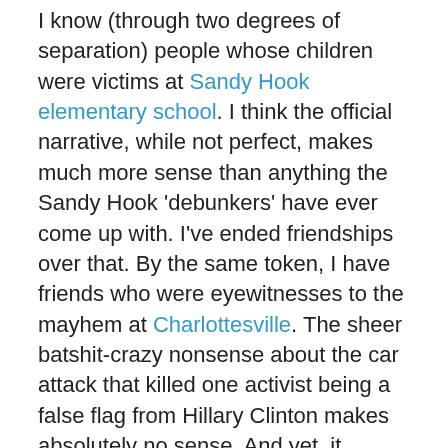I know (through two degrees of separation) people whose children were victims at Sandy Hook elementary school. I think the official narrative, while not perfect, makes much more sense than anything the Sandy Hook 'debunkers' have ever come up with. I've ended friendships over that. By the same token, I have friends who were eyewitnesses to the mayhem at Charlottesville. The sheer batshit-crazy nonsense about the car attack that killed one activist being a false flag from Hillary Clinton makes absolutely no sense. And yet, it spread far and wide. My own NY State Senator, Simcha Felder, has a senior staffer who's been spreading that particular meme. I should point out (the linked article does) that the bromide in question is being circulated by people sympathetic to alt-right anti-Semitism. My letter to him on the matter went unanswered.

And now we have Las Vegas. And to me this is just crazy–